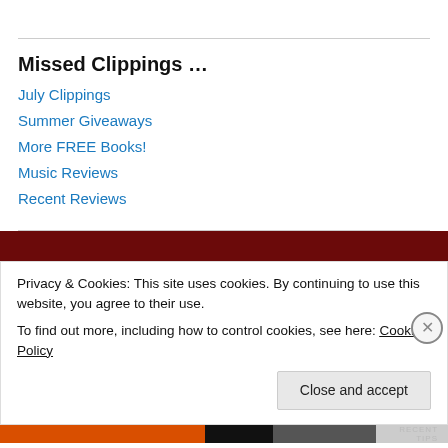Missed Clippings …
July Clippings
Summer Giveaways
More FREE Books!
Music Reviews
Recent Reviews
Privacy & Cookies: This site uses cookies. By continuing to use this website, you agree to their use.
To find out more, including how to control cookies, see here: Cookie Policy
Close and accept